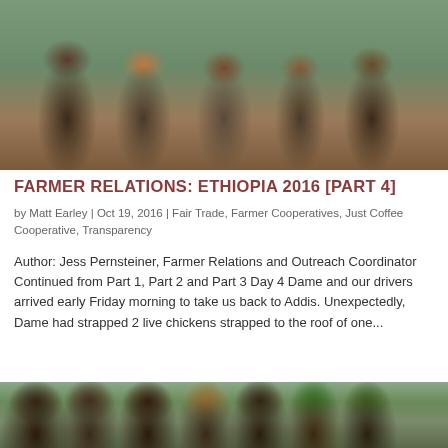[Figure (photo): Group of Ethiopian children and adults looking at the camera outdoors]
FARMER RELATIONS: ETHIOPIA 2016 [PART 4]
by Matt Earley | Oct 19, 2016 | Fair Trade, Farmer Cooperatives, Just Coffee Cooperative, Transparency
Author: Jess Pernsteiner, Farmer Relations and Outreach Coordinator Continued from Part 1, Part 2 and Part 3 Day 4 Dame and our drivers arrived early Friday morning to take us back to Addis. Unexpectedly, Dame had strapped 2 live chickens strapped to the roof of one...
[Figure (photo): Group of Ethiopian men smiling and laughing outdoors with green hills in background]